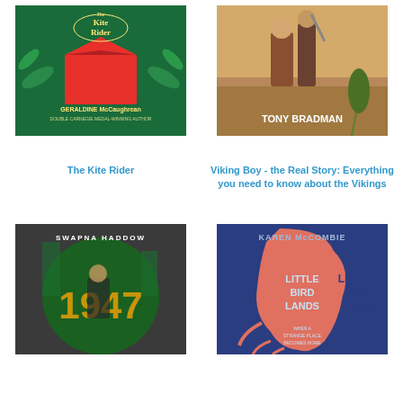[Figure (illustration): Book cover of The Kite Rider by Geraldine McCaughrean - green background with decorative circus tent and kite imagery, text 'Double Carnegie Medal-Winning Author']
[Figure (illustration): Book cover of Viking Boy - the Real Story by Tony Bradman - illustrated scene of Viking warriors in battle with sandy/orange tones]
The Kite Rider
Viking Boy - the Real Story: Everything you need to know about the Vikings
[Figure (illustration): Book cover of 1947 by Swapna Haddow - green circular design with large gold numerals 1947 and a figure in the center]
[Figure (illustration): Book cover of Little Bird Lands by Karen McCombie - blue background with orange silhouette figure, subtitle 'When a Strange Place Becomes Home']